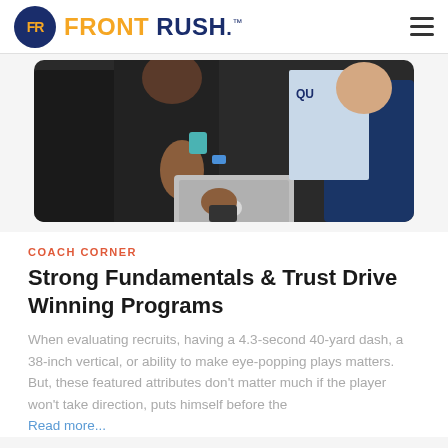FR FRONT RUSH.
[Figure (photo): People at a trade show booth with a MacBook laptop open on the table, a woman in black wearing a teal lanyard badge, others around her, a banner in the background.]
COACH CORNER
Strong Fundamentals & Trust Drive Winning Programs
When evaluating recruits, having a 4.3-second 40-yard dash, a 38-inch vertical, or ability to make eye-popping plays matters. But, these featured attributes don't matter much if the player won't take direction, puts himself before the
Read more...